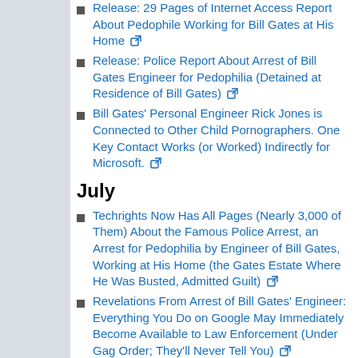Release: 29 Pages of Internet Access Report About Pedophile Working for Bill Gates at His Home
Release: Police Report About Arrest of Bill Gates Engineer for Pedophilia (Detained at Residence of Bill Gates)
Bill Gates' Personal Engineer Rick Jones is Connected to Other Child Pornographers. One Key Contact Works (or Worked) Indirectly for Microsoft.
July
Techrights Now Has All Pages (Nearly 3,000 of Them) About the Famous Police Arrest, an Arrest for Pedophilia by Engineer of Bill Gates, Working at His Home (the Gates Estate Where He Was Busted, Admitted Guilt)
Revelations From Arrest of Bill Gates' Engineer: Everything You Do on Google May Immediately Become Available to Law Enforcement (Under Gag Order; They'll Never Tell You)